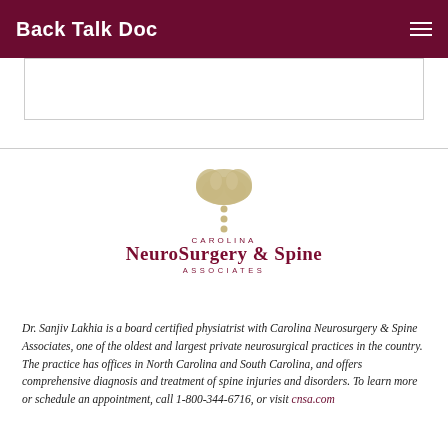Back Talk Doc
[Figure (logo): Carolina NeuroSurgery & Spine Associates logo with stylized brain and spine graphic in tan/gold above maroon text]
Dr. Sanjiv Lakhia is a board certified physiatrist with Carolina Neurosurgery & Spine Associates, one of the oldest and largest private neurosurgical practices in the country. The practice has offices in North Carolina and South Carolina, and offers comprehensive diagnosis and treatment of spine injuries and disorders. To learn more or schedule an appointment, call 1-800-344-6716, or visit cnsa.com.